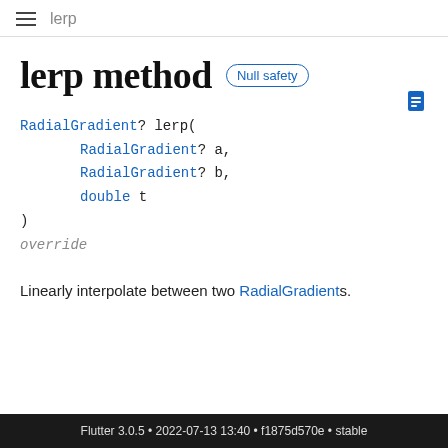lerp
lerp method
RadialGradient? lerp(
    RadialGradient? a,
    RadialGradient? b,
    double t
)
override
Linearly interpolate between two RadialGradients.
Flutter 3.0.5 • 2022-07-13 13:40 • f1875d570e • stable